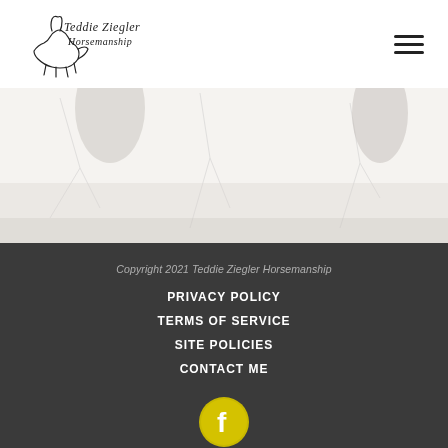[Figure (logo): Teddie Ziegler Horsemanship handwritten script logo with horse silhouette]
[Figure (photo): Light washed-out photo of horse hooves in snow or light ground]
Copyright 2021 Teddie Ziegler Horsemanship
PRIVACY POLICY
TERMS OF SERVICE
SITE POLICIES
CONTACT ME
[Figure (logo): Facebook icon: yellow circle with white F letter]